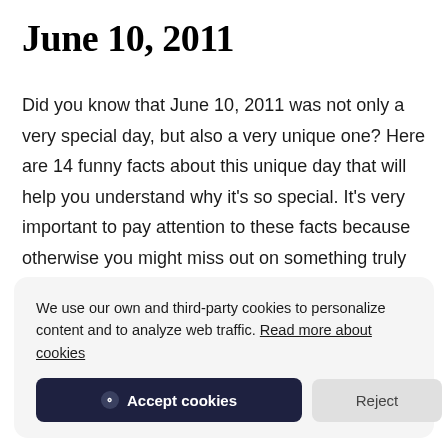June 10, 2011
Did you know that June 10, 2011 was not only a very special day, but also a very unique one? Here are 14 funny facts about this unique day that will help you understand why it's so special. It's very important to pay attention to these facts because otherwise you might miss out on something truly amazing.
We use our own and third-party cookies to personalize content and to analyze web traffic. Read more about cookies
Accept cookies | Reject